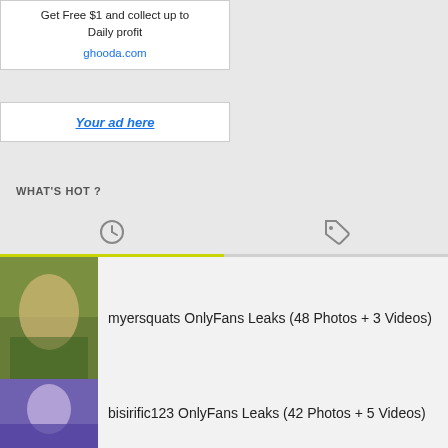[Figure (other): Advertisement box: 'Get Free $1 and collect up to Daily profit' with link ghooda.com]
[Figure (other): Second advertisement box with 'Your ad here' link]
WHAT'S HOT ?
myersquats OnlyFans Leaks (48 Photos + 3 Videos)
bisirific123 OnlyFans Leaks (42 Photos + 5 Videos)
dreamgirlkylee OnlyFans Leaks (45 Photos + 2 Videos)